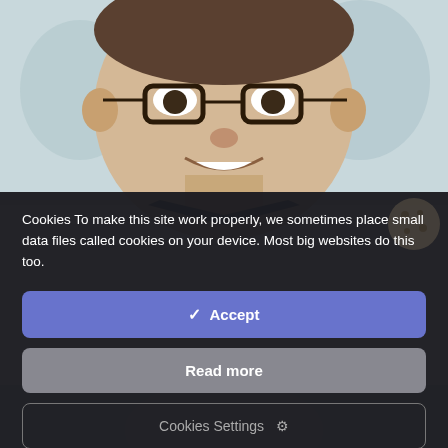[Figure (photo): Background photo of a smiling man wearing glasses, partially obscured by a dark cookie consent modal overlay. Bottom portion shows another partial photo.]
Cookies To make this site work properly, we sometimes place small data files called cookies on your device. Most big websites do this too.
✓ Accept
Read more
Cookies Settings ⚙